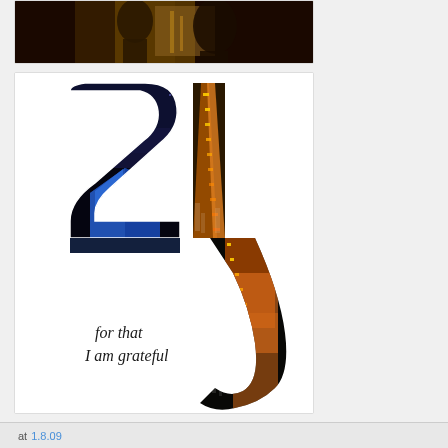[Figure (photo): Partially visible top card showing a dark artistic image with warm brown and gold tones, cropped figures]
[Figure (illustration): Collage artwork showing the number '21' silhouette filled with cityscape night photos showing golden lit street/bridge, and an arena/stadium scene with blue geometric structure. Text reads 'for that I am grateful' in handwritten style.]
at 1.8.09